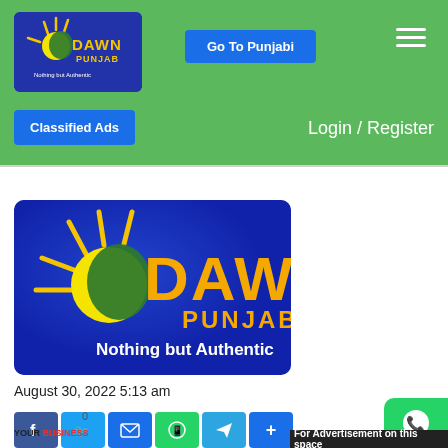[Figure (logo): Dawn Punjab logo in header bar — blue rectangle with sun and Pakistan map silhouette, text 'DAWN PUNJAB Nothing but Authentic']
Go To Punjabi
[Figure (other): Hamburger menu icon (three horizontal white lines)]
Classified Ads
Login / Register
[Figure (logo): Large Dawn Punjab logo on blue gradient background with sun, Pakistan map, text 'DAWN PUNJAB Nothing but Authentic']
August 30, 2022 5:13 am
[Figure (other): Social share buttons: Facebook, Twitter, Email, WhatsApp, Telegram, Share-plus]
For Advertisement on this space
[Figure (other): WhatsApp floating button icon]